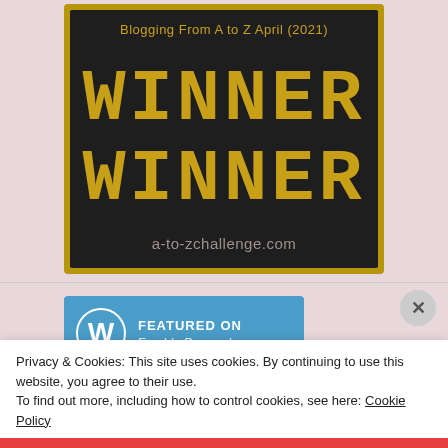[Figure (logo): A-to-Z Challenge 2021 Winner Winner badge on dark/black background with gold pixelated text reading WINNER WINNER, subtitle Blogging From A to Z April (2021), and URL a-to-zchallenge.com]
[Figure (logo): WordPress Featured On banner in blue with WordPress logo and text FEATURED ON]
Privacy & Cookies: This site uses cookies. By continuing to use this website, you agree to their use.
To find out more, including how to control cookies, see here: Cookie Policy
Close and accept